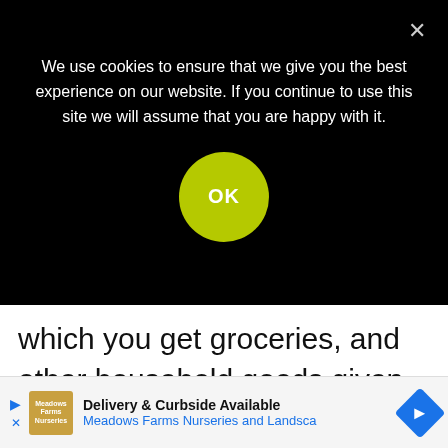We use cookies to ensure that we give you the best experience on our website. If you continue to use this site we will assume that you are happy with it.
which you get groceries, and other household goods given less time spent in the community shopping due to hazardous roads or your desire to stay bundled up indoors.
Delivery & Curbside Available Meadows Farms Nurseries and Landsca